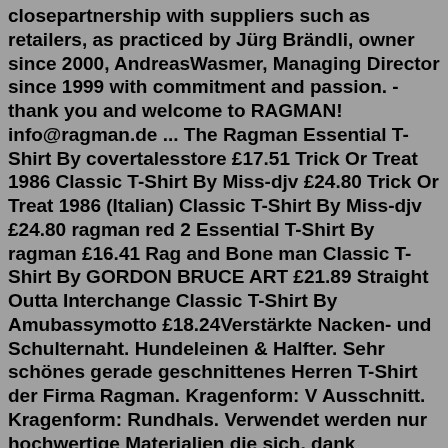closepartnership with suppliers such as retailers, as practiced by Jürg Brändli, owner since 2000, AndreasWasmer, Managing Director since 1999 with commitment and passion. - thank you and welcome to RAGMAN! info@ragman.de ... The Ragman Essential T-Shirt By covertalesstore £17.51 Trick Or Treat 1986 Classic T-Shirt By Miss-djv £24.80 Trick Or Treat 1986 (Italian) Classic T-Shirt By Miss-djv £24.80 ragman red 2 Essential T-Shirt By ragman £16.41 Rag and Bone man Classic T-Shirt By GORDON BRUCE ART £21.89 Straight Outta Interchange Classic T-Shirt By Amubassymotto £18.24Verstärkte Nacken- und Schulternaht. Hundeleinen & Halfter. Sehr schönes gerade geschnittenes Herren T-Shirt der Firma Ragman. Kragenform: V Ausschnitt. Kragenform: Rundhals. Verwendet werden nur hochwertige Materialien die sich, dank sorgfältiger Verarbeitung, durch einen hohen Tragekomfort und Langlebigkeit auszeichnen. Jul 19, 2022 · Ragman T-shirt zwart 2 stuks ronde hals katoen. € 25.95. Ragman t-shirt zwart 2 stuks v-